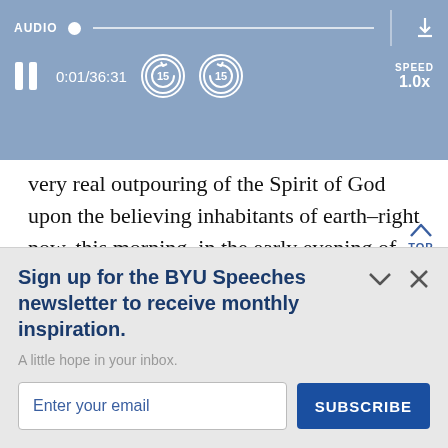[Figure (screenshot): Audio player bar with AUDIO label, progress bar with dot indicator, pause button, time 0:01/36:31, two skip-15 buttons, SPEED 1.0x, and download icon]
very real outpouring of the Spirit of God upon the believing inhabitants of earth–right now, this morning, in the early evening of the last dispensation. I hope that when I get throu this morning we might all leave this meeting
Sign up for the BYU Speeches newsletter to receive monthly inspiration.
A little hope in your inbox.
Enter your email
SUBSCRIBE